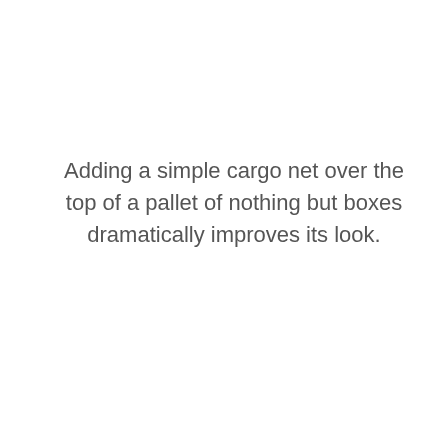Adding a simple cargo net over the top of a pallet of nothing but boxes dramatically improves its look.